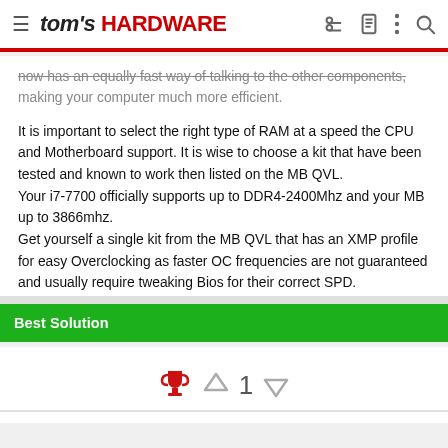tom's HARDWARE
now has an equally fast way of talking to the other components, making your computer much more efficient.

It is important to select the right type of RAM at a speed the CPU and Motherboard support. It is wise to choose a kit that have been tested and known to work then listed on the MB QVL.
Your i7-7700 officially supports up to DDR4-2400Mhz and your MB up to 3866mhz.
Get yourself a single kit from the MB QVL that has an XMP profile for easy Overclocking as faster OC frequencies are not guaranteed and usually require tweaking Bios for their correct SPD.
Best Solution
[Figure (other): Trophy icon with upvote arrow, number 1, and downvote arrow indicating best solution vote count]